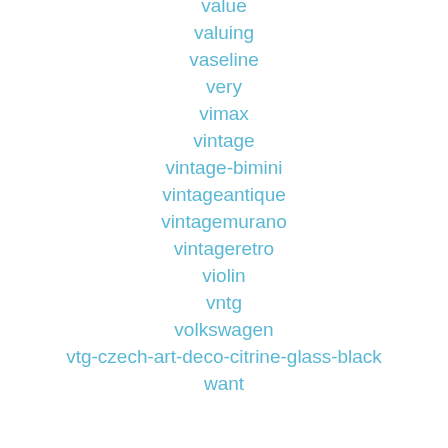value
valuing
vaseline
very
vimax
vintage
vintage-bimini
vintageantique
vintagemurano
vintageretro
violin
vntg
volkswagen
vtg-czech-art-deco-citrine-glass-black
want